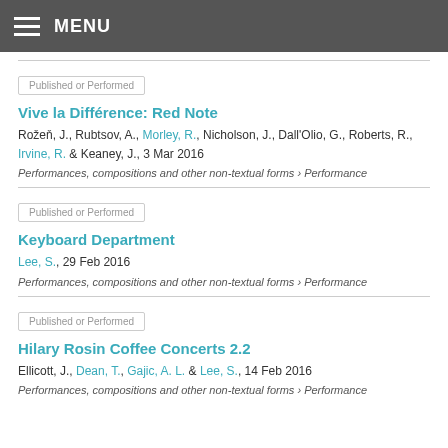MENU
Published or Performed
Vive la Différence: Red Note
Rožeň, J., Rubtsov, A., Morley, R., Nicholson, J., Dall'Olio, G., Roberts, R., Irvine, R. & Keaney, J., 3 Mar 2016
Performances, compositions and other non-textual forms › Performance
Published or Performed
Keyboard Department
Lee, S., 29 Feb 2016
Performances, compositions and other non-textual forms › Performance
Published or Performed
Hilary Rosin Coffee Concerts 2.2
Ellicott, J., Dean, T., Gajic, A. L. & Lee, S., 14 Feb 2016
Performances, compositions and other non-textual forms › Performance